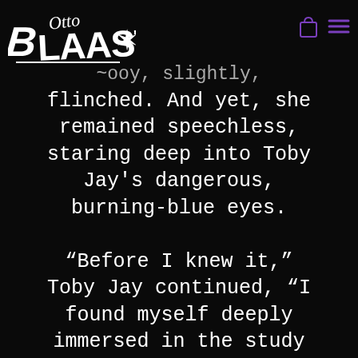[Figure (logo): Otto Blaast handwritten graffiti-style logo in white on black background]
Navigation icons: shopping bag and hamburger menu in purple
~ooy, slightly, flinched. And yet, she remained speechless, staring deep into Toby Jay’s dangerous, burning-blue eyes.

“Before I knew it,” Toby Jay continued, “I found myself deeply immersed in the study